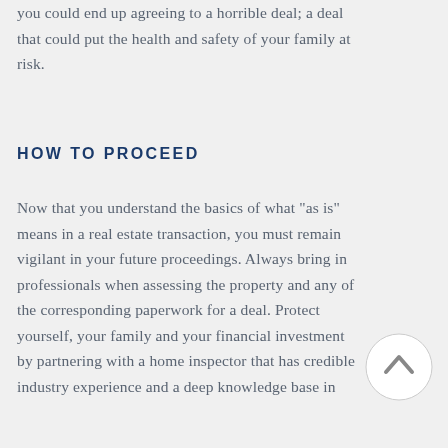you could end up agreeing to a horrible deal; a deal that could put the health and safety of your family at risk.
HOW TO PROCEED
Now that you understand the basics of what "as is" means in a real estate transaction, you must remain vigilant in your future proceedings. Always bring in professionals when assessing the property and any of the corresponding paperwork for a deal. Protect yourself, your family and your financial investment by partnering with a home inspector that has credible industry experience and a deep knowledge base in